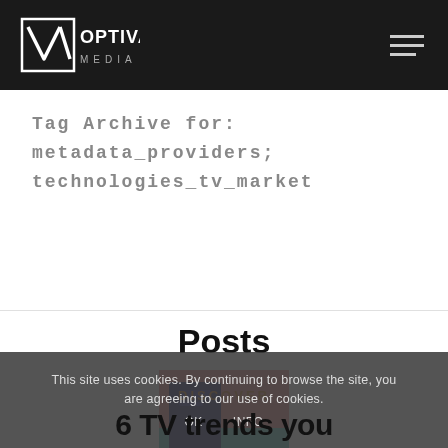Optiva Media
Tag Archive for: metadata_providers; technologies_tv_market
Posts
[Figure (illustration): Thumbnail image with pink and teal geometric shapes, partially visible]
DISCOVER
6 TV trends you
This site uses cookies. By continuing to browse the site, you are agreeing to our use of cookies.
OK   INFO